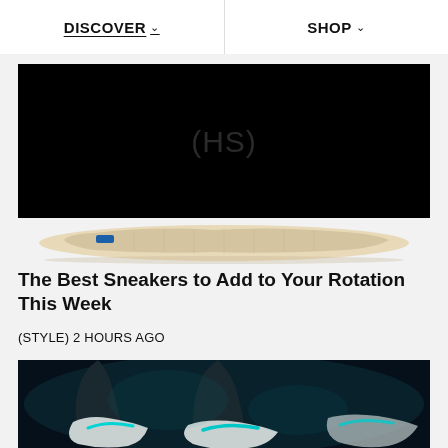DISCOVER   SHOP
[Figure (screenshot): Black video player area with (HS) watermark logo in the center, and a sneaker sole image visible below it]
The Best Sneakers to Add to Your Rotation This Week
(STYLE) 2 HOURS AGO
[Figure (photo): Close-up photo of Nike sneakers on feet with teal/cyan colorway against dark background]